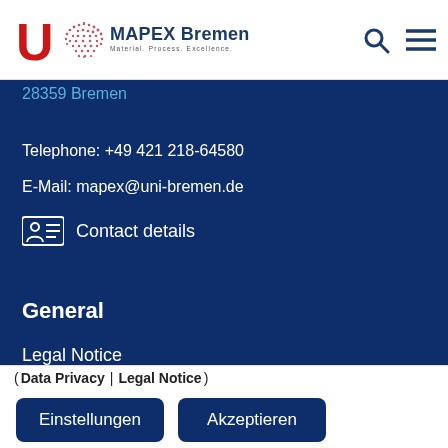MAPEX Bremen — Material. Process. Excellence.
28359 Bremen
Telephone: +49 421 218-64580
E-Mail: mapex@uni-bremen.de
Contact details
General
Legal Notice
( Data Privacy | Legal Notice )
Einstellungen
Akzeptieren